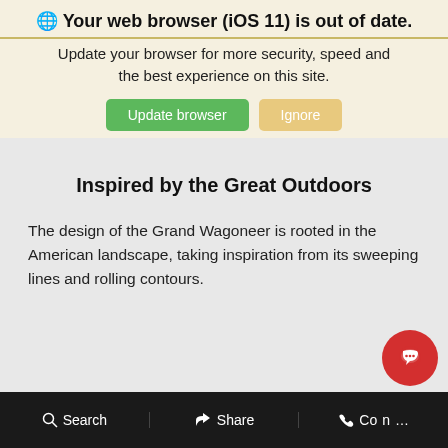🌐 Your web browser (iOS 11) is out of date.
Update your browser for more security, speed and the best experience on this site.
Inspired by the Great Outdoors
The design of the Grand Wagoneer is rooted in the American landscape, taking inspiration from its sweeping lines and rolling contours.
Search   Share   Con...